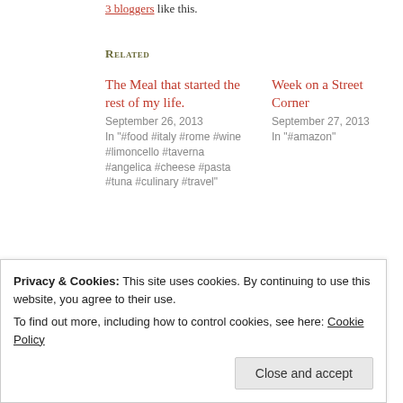3 bloggers like this.
Related
The Meal that started the rest of my life.
September 26, 2013
In "#food #italy #rome #wine #limoncello #taverna #angelica #cheese #pasta #tuna #culinary #travel"
Week on a Street Corner
September 27, 2013
In "#amazon"
The Man Who Waited (Fiction)
June 17, 2014
Privacy & Cookies: This site uses cookies. By continuing to use this website, you agree to their use.
To find out more, including how to control cookies, see here: Cookie Policy
Close and accept